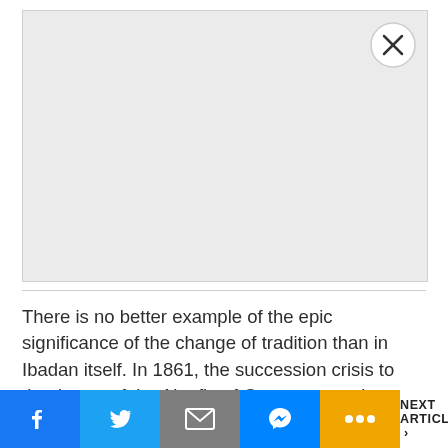[Figure (other): Gray advertisement placeholder box with a close (X) button in the top-right corner]
There is no better example of the epic significance of the change of tradition than in Ibadan itself. In 1861, the succession crisis to the throne of the Alaafin of Oyo was a major trigger of the war between Ijaye and Ibadan.
Facebook | Twitter | Email | Messenger | More | NEXT ARTICLE >